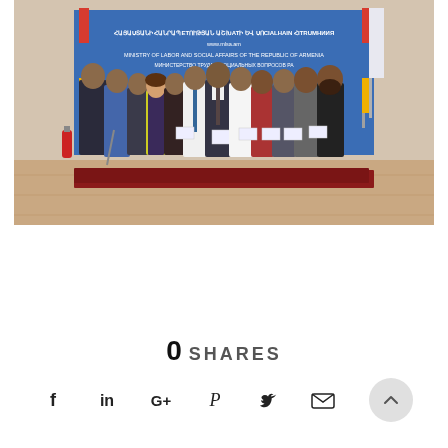[Figure (photo): Group photo of approximately 12 people standing in front of a blue banner reading 'Ministry of Labor and Social Affairs of the Republic of Armenia'. Several individuals are holding white certificates/documents. The setting appears to be an official government ceremony hall with tiled flooring and a red carpet.]
0 SHARES
[Figure (other): Social media sharing icons row: Facebook (f), LinkedIn (in), Google+ (G+), Pinterest (P), Twitter (bird), Email (envelope), and a scroll-to-top button (^)]